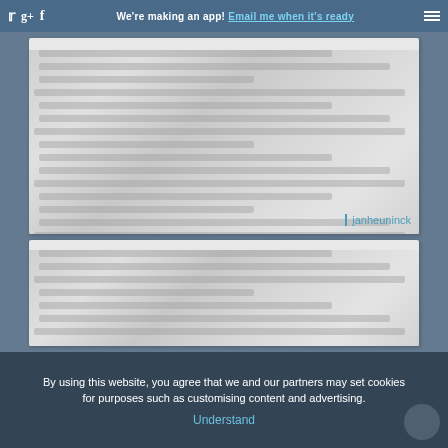We're making an app! Email me when it's ready
[Figure (photo): First blurred/loading image card with attribution 'janheuninck']
janheuninck
[Figure (photo): Second blurred/loading image card]
By using this website, you agree that we and our partners may set cookies for purposes such as customising content and advertising. Understand